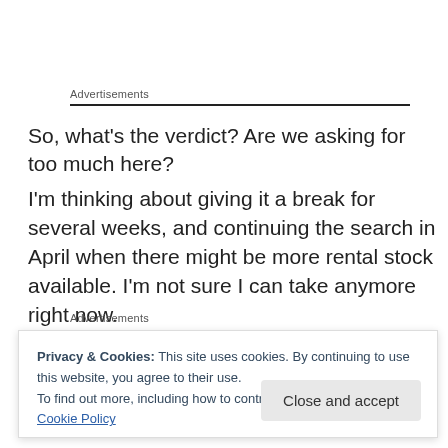Advertisements
So, what’s the verdict?  Are we asking for too much here?
I’m thinking about giving it a break for several weeks, and continuing the search in April when there might be more rental stock available.  I’m not sure I can take anymore right now.
Advertisements
Privacy & Cookies: This site uses cookies. By continuing to use this website, you agree to their use.
To find out more, including how to control cookies, see here: Cookie Policy